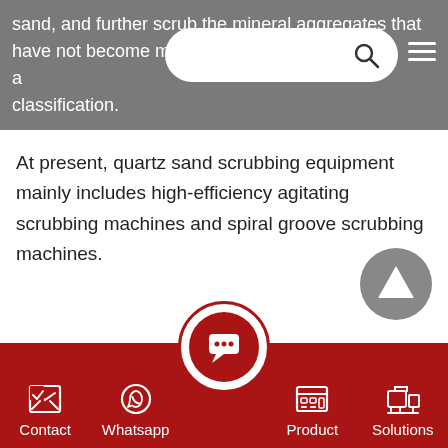sand, and further scrub the mineral aggregates that have not become monolithic, and through classification.
At present, quartz sand scrubbing equipment mainly includes high-efficiency agitating scrubbing machines and spiral groove scrubbing machines.
[Figure (screenshot): Scroll-to-top circular button with upward triangle arrow, grey color]
Contact  Whatsapp  [Chat]  Product  Solutions